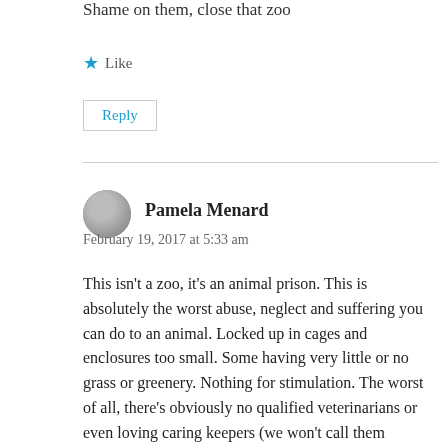Shame on them, close that zoo
Like
Reply
Pamela Menard
February 19, 2017 at 5:33 am
This isn't a zoo, it's an animal prison. This is absolutely the worst abuse, neglect and suffering you can do to an animal. Locked up in cages and enclosures too small. Some having very little or no grass or greenery. Nothing for stimulation. The worst of all, there's obviously no qualified veterinarians or even loving caring keepers (we won't call them caretakers). Shame on people who run